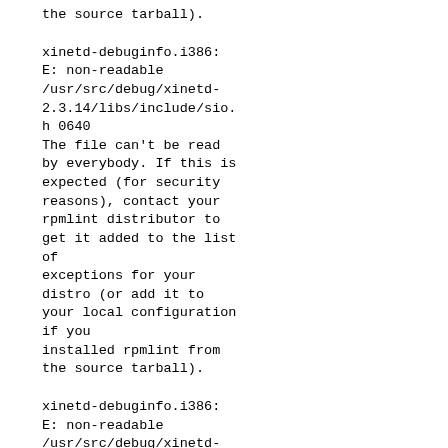the source tarball).
xinetd-debuginfo.i386:
E: non-readable
/usr/src/debug/xinetd-
2.3.14/libs/include/sio.
h 0640
The file can't be read
by everybody. If this is
expected (for security
reasons), contact your
rpmlint distributor to
get it added to the list
of
exceptions for your
distro (or add it to
your local configuration
if you
installed rpmlint from
the source tarball).
xinetd-debuginfo.i386:
E: non-readable
/usr/src/debug/xinetd-
2.3.14/libs/include/str.
h 0640
The file can't be read
by everybody. If this is
expected (for security
reasons), contact your